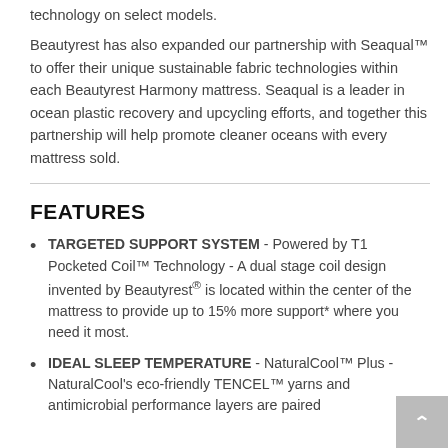technology on select models.
Beautyrest has also expanded our partnership with Seaqual™ to offer their unique sustainable fabric technologies within each Beautyrest Harmony mattress. Seaqual is a leader in ocean plastic recovery and upcycling efforts, and together this partnership will help promote cleaner oceans with every mattress sold.
FEATURES
TARGETED SUPPORT SYSTEM - Powered by T1 Pocketed Coil™ Technology - A dual stage coil design invented by Beautyrest® is located within the center of the mattress to provide up to 15% more support* where you need it most.
IDEAL SLEEP TEMPERATURE - NaturalCool™ Plus - NaturalCool's eco-friendly TENCEL™ yarns and antimicrobial performance layers are paired